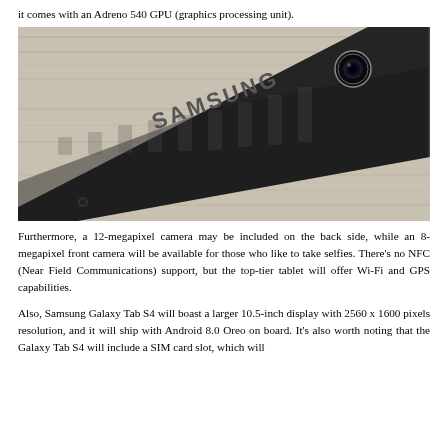it comes with an Adreno 540 GPU (graphics processing unit).
[Figure (photo): Back view of a Samsung Galaxy Tab S4 tablet lying on a white wooden surface, showing the Samsung logo and rear camera module.]
Furthermore, a 12-megapixel camera may be included on the back side, while an 8-megapixel front camera will be available for those who like to take selfies. There's no NFC (Near Field Communications) support, but the top-tier tablet will offer Wi-Fi and GPS capabilities.
Also, Samsung Galaxy Tab S4 will boast a larger 10.5-inch display with 2560 x 1600 pixels resolution, and it will ship with Android 8.0 Oreo on board. It's also worth noting that the Galaxy Tab S4 will include a SIM card slot, which will